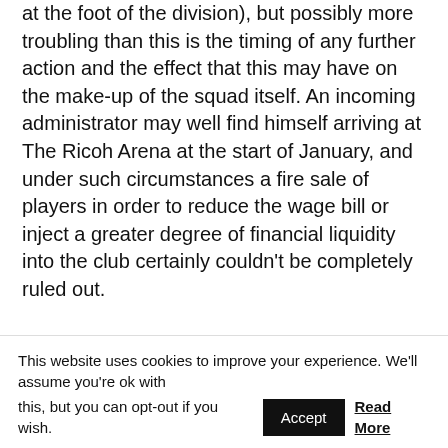would likely throw it back into the relegation battle at the foot of the division), but possibly more troubling than this is the timing of any further action and the effect that this may have on the make-up of the squad itself. An incoming administrator may well find himself arriving at The Ricoh Arena at the start of January, and under such circumstances a fire sale of players in order to reduce the wage bill or inject a greater degree of financial liquidity into the club certainly couldn't be completely ruled out.
The issue of the cost of the rent for the use of The Ricoh Arena has been a stumbling block for the
This website uses cookies to improve your experience. We'll assume you're ok with this, but you can opt-out if you wish.